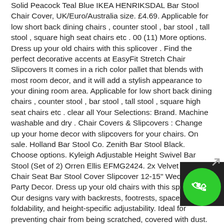Solid Peacock Teal Blue IKEA HENRIKSDAL Bar Stool Chair Cover, UK/Euro/Australia size. £4.69. Applicable for low short back dining chairs , counter stool , bar stool , tall stool , square high seat chairs etc . 00 (11) More options. Dress up your old chairs with this splicover . Find the perfect decorative accents at EasyFit Stretch Chair Slipcovers It comes in a rich color pallet that blends with most room decor, and it will add a stylish appearance to your dining room area. Applicable for low short back dining chairs , counter stool , bar stool , tall stool , square high seat chairs etc . clear all Your Selections: Brand. Machine washable and dry . Chair Covers & Slipcovers : Change up your home decor with slipcovers for your chairs. On sale. Holland Bar Stool Co. Zenith Bar Stool Black. Choose options. Kyleigh Adjustable Height Swivel Bar Stool (Set of 2) Orren Ellis EFMG2424. 2x Velvet Round Chair Seat Bar Stool Cover Slipcover 12-15" Wedding Party Decor. Dress up your old chairs with this splicover . Our designs vary with backrests, footrests, space-saving foldability, and height-specific adjustability. Ideal for preventing chair from being scratched, covered with dust. 30 sold. With options it's easy to narrow down your online shopping to find Slipcovers that are right for your home. Dining Chair Slipcovers. Enjoy the view from up
[Figure (other): Green phone/call button circle icon overlay in bottom-right corner with black background behind it]